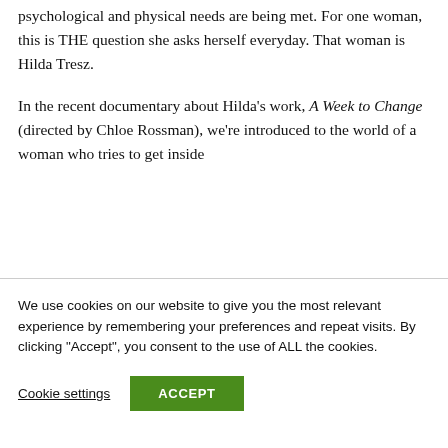psychological and physical needs are being met. For one woman, this is THE question she asks herself everyday. That woman is Hilda Tresz.
In the recent documentary about Hilda's work, A Week to Change (directed by Chloe Rossman), we're introduced to the world of a woman who tries to get inside
We use cookies on our website to give you the most relevant experience by remembering your preferences and repeat visits. By clicking "Accept", you consent to the use of ALL the cookies.
Cookie settings
ACCEPT